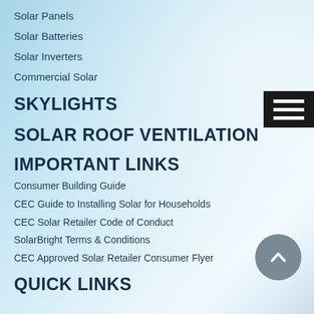Solar Panels
Solar Batteries
Solar Inverters
Commercial Solar
SKYLIGHTS
SOLAR ROOF VENTILATION
IMPORTANT LINKS
Consumer Building Guide
CEC Guide to Installing Solar for Households
CEC Solar Retailer Code of Conduct
SolarBright Terms & Conditions
CEC Approved Solar Retailer Consumer Flyer
QUICK LINKS